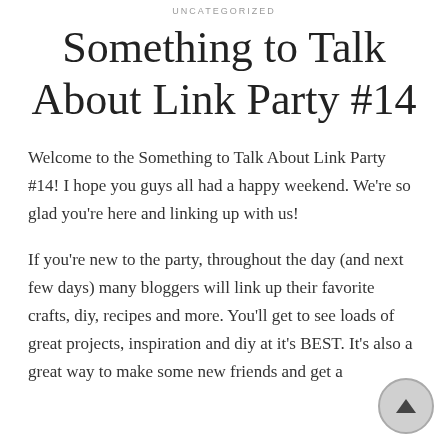UNCATEGORIZED
Something to Talk About Link Party #14
Welcome to the Something to Talk About Link Party #14! I hope you guys all had a happy weekend.  We're so glad you're here and linking up with us!
If you're new to the party, throughout the day (and next few days) many bloggers will link up their favorite crafts, diy, recipes and more.  You'll get to see loads of great projects, inspiration and diy at it's BEST.  It's also a great way to make some new friends and get a